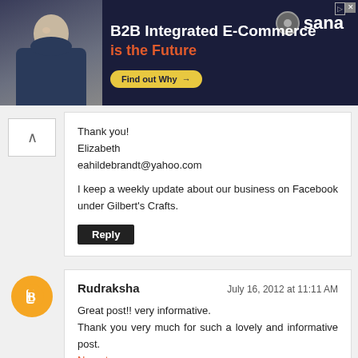[Figure (illustration): Advertisement banner for Sana Commerce: B2B Integrated E-Commerce is the Future, with a man in a dark shirt, Sana logo, and 'Find out Why' button on dark navy background.]
Thank you!
Elizabeth
eahildebrandt@yahoo.com

I keep a weekly update about our business on Facebook under Gilbert's Crafts.
Reply
Rudraksha
July 16, 2012 at 11:11 AM

Great post!! very informative.
Thank you very much for such a lovely and informative post.
Navratan
Reply
Deb Davis
July 16, 2012 at 11:27 AM